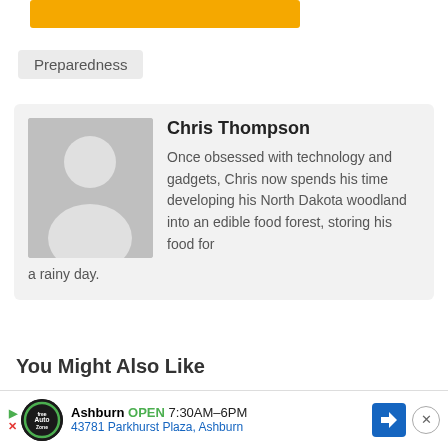[Figure (other): Yellow/orange rectangular button or header bar, partially visible at top]
Preparedness
[Figure (other): Author card with placeholder avatar silhouette (gray background with white person silhouette). Author name: Chris Thompson. Bio: Once obsessed with technology and gadgets, Chris now spends his time developing his North Dakota woodland into an edible food forest, storing his food for a rainy day.]
You Might Also Like
[Figure (other): Advertisement banner: Ashburn OPEN 7:30AM-6PM, 43781 Parkhurst Plaza, Ashburn. Shows AutoZone logo, navigation arrow icon, and close button.]